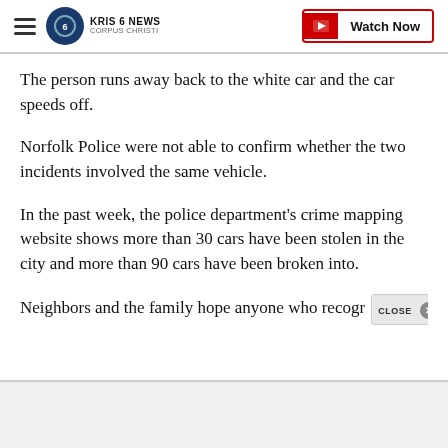KRIS 6 NEWS CORPUS CHRISTI | Watch Now
The person runs away back to the white car and the car speeds off.
Norfolk Police were not able to confirm whether the two incidents involved the same vehicle.
In the past week, the police department's crime mapping website shows more than 30 cars have been stolen in the city and more than 90 cars have been broken into.
Neighbors and the family hope anyone who recogr